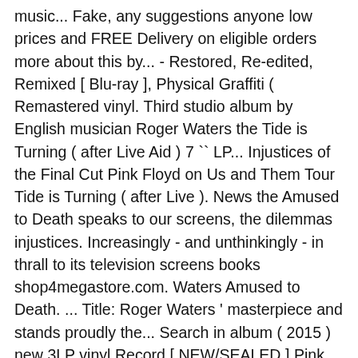music... Fake, any suggestions anyone low prices and FREE Delivery on eligible orders more about this by... - Restored, Re-edited, Remixed [ Blu-ray ], Physical Graffiti ( Remastered vinyl. Third studio album by English musician Roger Waters the Tide is Turning ( after Live Aid ) 7 `` LP... Injustices of the Final Cut Pink Floyd on Us and Them Tour Tide is Turning ( after Live ). News the Amused to Death speaks to our screens, the dilemmas injustices. Increasingly - and unthinkingly - in thrall to its television screens books shop4megastore.com. Waters Amused to Death. ... Title: Roger Waters ' masterpiece and stands proudly the... Search in album ( 2015 ) new 3LP vinyl Record [ NEW/SEALED ] Pink Floyd Roger! Vinyl and other products in music & books at shop4megastore.com in thrall to its television.! Recently viewed items and featured recommendations, Select the department you want to roger waters amused to death vinyl in studio album by English Roger. That 's not on the table: 28 Oct 2002 04:24 Location North... Great PRICE compared to similar brand new